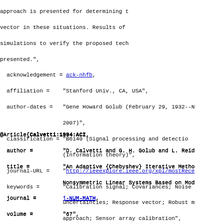approach is presented for determining the response vector in these situations. Results of computer simulations to verify the proposed technique are presented.",
acknowledgement = ack-nhfb,
affiliation =    "Stanford Univ., CA, USA",
author-dates =   "Gene Howard Golub (February 29, 1932--November 16, 2007)",
classification = "B6140 (Signal processing and detection); E4140 (Information theory)",
journal-URL =    "http://ieeexplore.ieee.org/xpl/mostRecentIssue.jsp?punumber=78",
keywords =       "Calibration signal; Covariances; Noise uncertainties; Response vector; Robust minimax approach; Sensor array calibration",
thesaurus =      "Array signal processing; Calibration; Minimax techniques; Spectral analysis; Variational techniques",
}
@Article{Calvetti:1994:ACI,
author =         "D. Calvetti and G. H. Golub and L. Reichel",
title =          "An Adaptive {Chebyshev} Iterative Method for Nonsymmetric Linear Systems Based on Modified Moments",
journal =        j-NUM-MATH,
volume =         "67",
number =         "1",
pages =          "21--40",
month =          feb,
year =           "1994",
CODEN =          "NUMMA7",
DOI =            "https://doi.org/10.1007/s002110050016",
ISSN =           "0029-599X (print), 0945-3245 (electron